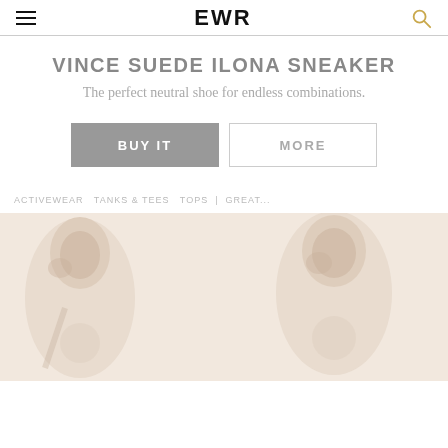EWR
VINCE SUEDE ILONA SNEAKER
The perfect neutral shoe for endless combinations.
BUY IT | MORE
ACTIVEWEAR  TANKS & TEES  TOPS  | GREAT ...
[Figure (photo): Two faded fashion editorial photos showing women in neutral/white clothing, side by side at the bottom of the page]